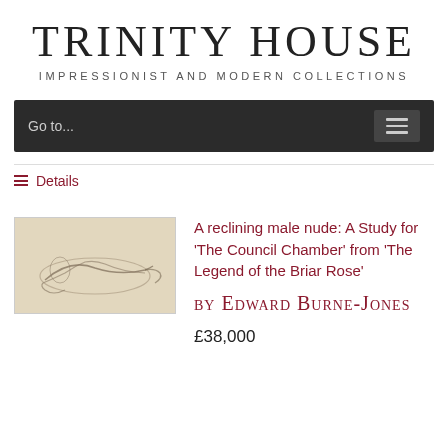TRINITY HOUSE
IMPRESSIONIST AND MODERN COLLECTIONS
Go to...
Details
[Figure (illustration): Small pencil sketch of a reclining male nude figure]
A reclining male nude: A Study for 'The Council Chamber' from 'The Legend of the Briar Rose'
by Edward Burne-Jones
£38,000